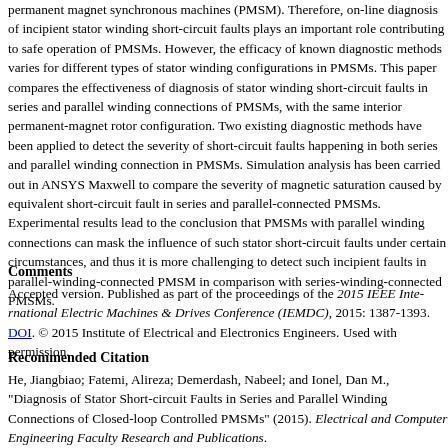permanent magnet synchronous machines (PMSM). Therefore, on-line diagnosis of incipient stator winding short-circuit faults plays an important role contributing to safe operation of PMSMs. However, the efficacy of known diagnostic methods varies for different types of stator winding configurations in PMSMs. This paper compares the effectiveness of diagnosis of stator winding short-circuit faults in series and parallel winding connections of PMSMs, with the same interior permanent-magnet rotor configuration. Two existing diagnostic methods have been applied to detect the severity of short-circuit faults happening in both series and parallel winding connection in PMSMs. Simulation analysis has been carried out in ANSYS Maxwell to compare the severity of magnetic saturation caused by equivalent short-circuit fault in series and parallel-connected PMSMs. Experimental results lead to the conclusion that PMSMs with parallel winding connections can mask the influence of such stator short-circuit faults under certain circumstances, and thus it is more challenging to detect such incipient faults in parallel-winding-connected PMSM in comparison with series-winding-connected PMSMs.
Comments
Accepted version. Published as part of the proceedings of the 2015 IEEE International Electric Machines & Drives Conference (IEMDC), 2015: 1387-1393. DOI. © 2015 Institute of Electrical and Electronics Engineers. Used with permission.
Recommended Citation
He, Jiangbiao; Fatemi, Alireza; Demerdash, Nabeel; and Ionel, Dan M., "Diagnosis of Stator Short-circuit Faults in Series and Parallel Winding Connections of Closed-loop Controlled PMSMs" (2015). Electrical and Computer Engineering Faculty Research and Publications. https://epublications.marquette.edu/electric_fac/218